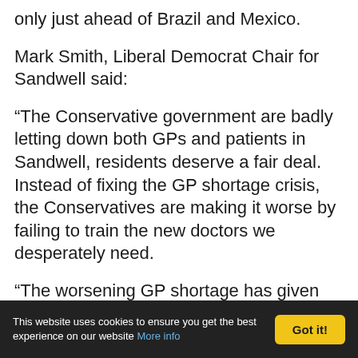only just ahead of Brazil and Mexico.
Mark Smith, Liberal Democrat Chair for Sandwell said:
“The Conservative government are badly letting down both GPs and patients in Sandwell, residents deserve a fair deal. Instead of fixing the GP shortage crisis, the Conservatives are making it worse by failing to train the new doctors we desperately need.
“The worsening GP shortage has given rise to a postcode lottery, with our hard-working GPs overstretched and people
This website uses cookies to ensure you get the best experience on our website More info  Got it!